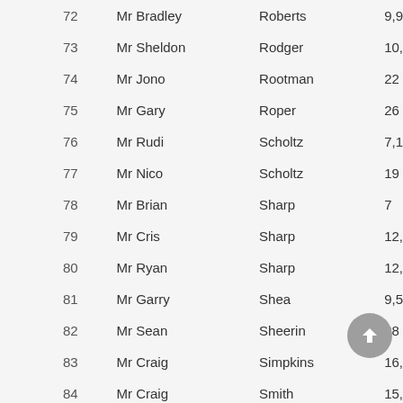| # | First Name | Surname | Value |
| --- | --- | --- | --- |
| 72 | Mr Bradley | Roberts | 9,9 |
| 73 | Mr Sheldon | Rodger | 10, |
| 74 | Mr Jono | Rootman | 22 |
| 75 | Mr Gary | Roper | 26 |
| 76 | Mr Rudi | Scholtz | 7,1 |
| 77 | Mr Nico | Scholtz | 19 |
| 78 | Mr Brian | Sharp | 7 |
| 79 | Mr Cris | Sharp | 12, |
| 80 | Mr Ryan | Sharp | 12, |
| 81 | Mr Garry | Shea | 9,5 |
| 82 | Mr Sean | Sheerin | 28 |
| 83 | Mr Craig | Simpkins | 16, |
| 84 | Mr Craig | Smith | 15, |
| 85 | Mr Gavin | Smith | 23 |
| 86 | Mr Zane | Stevens | 15, |
| 87 | Mr Sheldon | Stevenson | 7 |